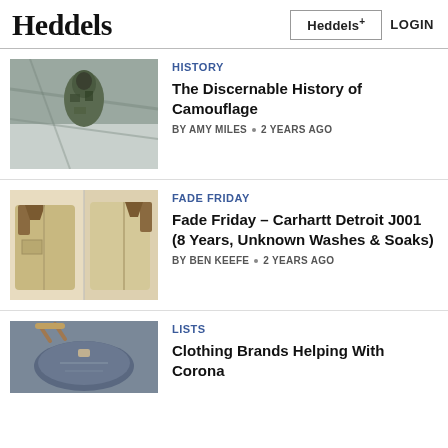Heddels | Heddels+ | LOGIN
[Figure (photo): Person wearing camouflage outfit viewed from above on a snowy/icy surface]
HISTORY
The Discernable History of Camouflage
BY AMY MILES · 2 YEARS AGO
[Figure (photo): Two views of a tan/beige Carhartt Detroit J001 jacket on a rack, front and back]
FADE FRIDAY
Fade Friday – Carhartt Detroit J001 (8 Years, Unknown Washes & Soaks)
BY BEN KEEFE · 2 YEARS AGO
[Figure (photo): A denim bag with rope handle]
LISTS
Clothing Brands Helping With Corona